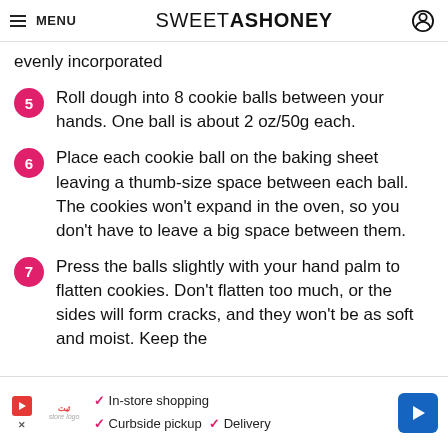MENU | SWEETASHONEY
evenly incorporated
5 Roll dough into 8 cookie balls between your hands. One ball is about 2 oz/50g each.
6 Place each cookie ball on the baking sheet leaving a thumb-size space between each ball. The cookies won't expand in the oven, so you don't have to leave a big space between them.
7 Press the balls slightly with your hand palm to flatten cookies. Don't flatten too much, or the sides will form cracks, and they won't be as soft and moist. Keep the
[Figure (infographic): Advertisement banner: In-store shopping, Curbside pickup, Delivery with store logo and arrow icon]